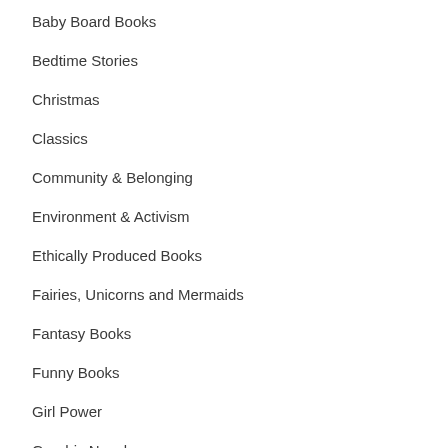Baby Board Books
Bedtime Stories
Christmas
Classics
Community & Belonging
Environment & Activism
Ethically Produced Books
Fairies, Unicorns and Mermaids
Fantasy Books
Funny Books
Girl Power
Graphic Novels
Grief and Loss